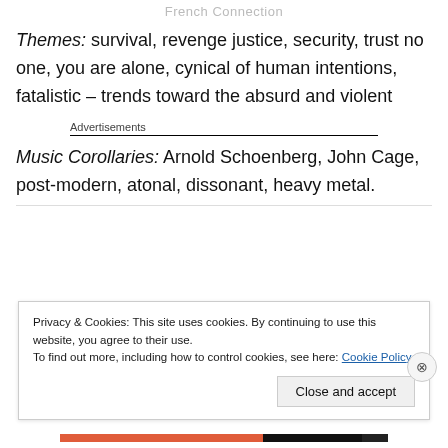French Connection
Themes: survival, revenge justice, security, trust no one, you are alone, cynical of human intentions, fatalistic – trends toward the absurd and violent
Advertisements
Music Corollaries: Arnold Schoenberg, John Cage, post-modern, atonal, dissonant, heavy metal.
Privacy & Cookies: This site uses cookies. By continuing to use this website, you agree to their use. To find out more, including how to control cookies, see here: Cookie Policy